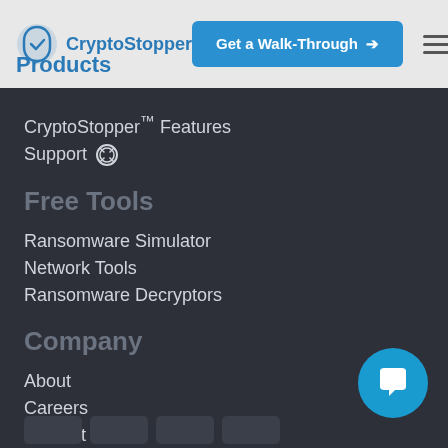CryptoStopper | Get a Walk-Through | Products
CryptoStopper™ Features
Support
Free Tools
Ransomware Simulator
Network Tools
Ransomware Decryptors
Company
About
Careers
Contact